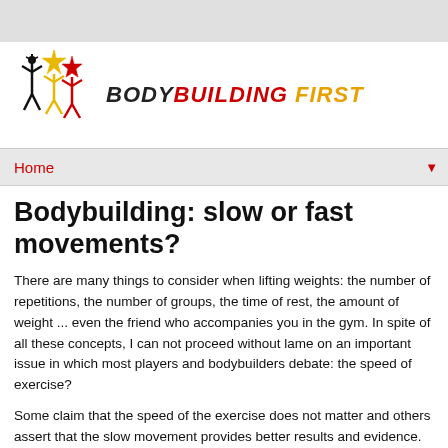[Figure (logo): Bodybuilding First logo with stylized figure icons in black, yellow, and red, alongside the brand name 'BODYBUILDING FIRST' in bold italic with black and red for 'BODYBUILDING' and orange/gold for 'FIRST']
Home
Bodybuilding: slow or fast movements?
There are many things to consider when lifting weights: the number of repetitions, the number of groups, the time of rest, the amount of weight ... even the friend who accompanies you in the gym. In spite of all these concepts, I can not proceed without lame on an important issue in which most players and bodybuilders debate: the speed of exercise?
Some claim that the speed of the exercise does not matter and others assert that the slow movement provides better results and evidence. The most important evidence is an